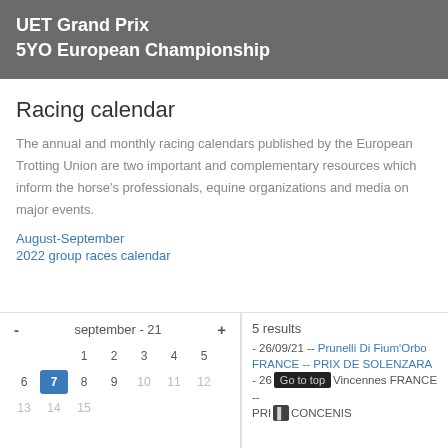UET Grand Prix
5YO European Championship
Racing calendar
The annual and monthly racing calendars published by the European Trotting Union are two important and complementary resources which inform the horse's professionals, equine organizations and media on major events.
August-September
2022 group races calendar
5 results
- 26/09/21 -- Prunelli Di Fium'Orbo FRANCE -- PRIX DE SOLENZARA
- 26 ... Vincennes FRANCE -- PRI... CONCENIS
[Figure (other): Calendar widget showing september - 21, with dates grid showing 1-10+ and navigation arrows]